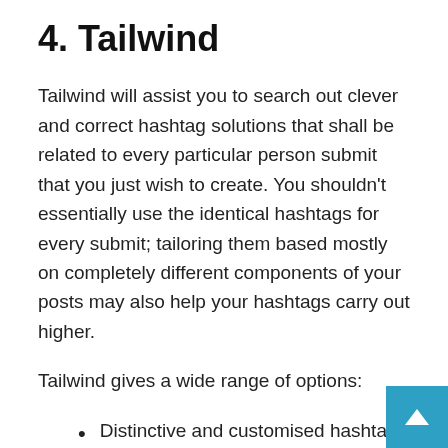4. Tailwind
Tailwind will assist you to search out clever and correct hashtag solutions that shall be related to every particular person submit that you just wish to create. You shouldn't essentially use the identical hashtags for every submit; tailoring them based mostly on completely different components of your posts may also help your hashtags carry out higher.
Tailwind gives a wide range of options:
Distinctive and customised hashtag suggestions
Hashtag solutions seem in classes that will help you perceive what influence